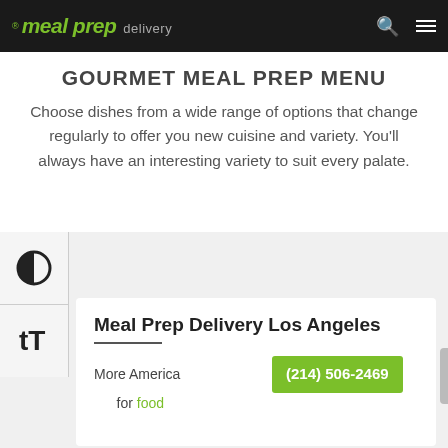meal prep delivery
GOURMET MEAL PREP MENU
Choose dishes from a wide range of options that change regularly to offer you new cuisine and variety. You'll always have an interesting variety to suit every palate.
Meal Prep Delivery Los Angeles
More America... (214) 506-2469 ...ing for food